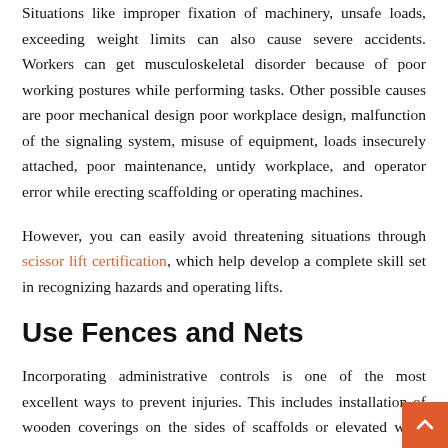Situations like improper fixation of machinery, unsafe loads, exceeding weight limits can also cause severe accidents. Workers can get musculoskeletal disorder because of poor working postures while performing tasks. Other possible causes are poor mechanical design poor workplace design, malfunction of the signaling system, misuse of equipment, loads insecurely attached, poor maintenance, untidy workplace, and operator error while erecting scaffolding or operating machines.

However, you can easily avoid threatening situations through scissor lift certification, which help develop a complete skill set in recognizing hazards and operating lifts.
Use Fences and Nets
Incorporating administrative controls is one of the most excellent ways to prevent injuries. This includes installation of wooden coverings on the sides of scaffolds or elevated work areas to